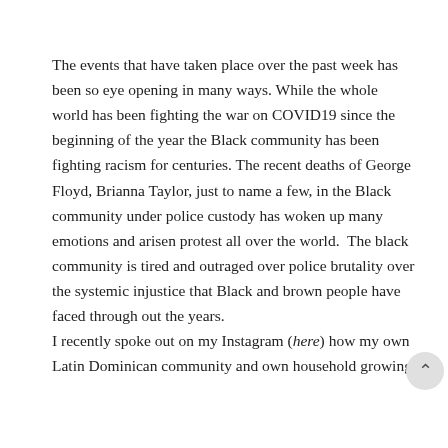The events that have taken place over the past week has been so eye opening in many ways. While the whole world has been fighting the war on COVID19 since the beginning of the year the Black community has been fighting racism for centuries. The recent deaths of George Floyd, Brianna Taylor, just to name a few, in the Black community under police custody has woken up many emotions and arisen protest all over the world.  The black community is tired and outraged over police brutality over the systemic injustice that Black and brown people have faced through out the years.
I recently spoke out on my Instagram (here) how my own Latin Dominican community and own household growing